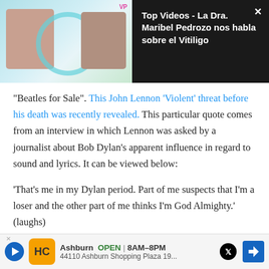[Figure (screenshot): Video panel showing two women in a video call or TV segment, with a teal circle overlay graphic and 'VP' badge. Right side shows dark background with video title text in white. An X close button is in the top right corner.]
“Beatles for Sale”. This John Lennon ‘Violent’ threat before his death was recently revealed. This particular quote comes from an interview in which Lennon was asked by a journalist about Bob Dylan’s apparent influence in regard to sound and lyrics. It can be viewed below:
‘That’s me in my Dylan period. Part of me suspects that I’m a loser and the other part of me thinks I’m God Almighty.’ (laughs)
In other news regarding The Beatles, fans on the official subreddit...hts about...
[Figure (screenshot): Advertisement banner for a local business. Shows a play button, HC logo in yellow, Ashburn location info: OPEN 8AM-8PM, 44110 Ashburn Shopping Plaza 19..., X social icon, and a blue navigation arrow icon.]